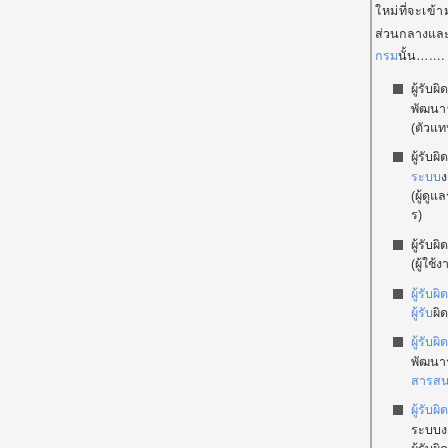ใหม่ที่จะเข้ามารับผิดชอบงาน
ส่วนกลางและส่วนภูมิภาค ของ
กรมนั้น…….
ผู้รับผิดชอบงานด้านการ
พัฒนาระบบงาน (ตัวแทนหน่วยงาน)
ผู้รับผิดชอบงานด้านการ
พัฒนาระบบงาน (ผู้ดูแลระบบ
สารสนเทศ)
ผู้รับผิดชอบงาน (ผู้ใช้งาน)
ผู้รับผิดชอบงานด้าน(ก
ผู้รับผิดชอบงานด้าน)
ผู้รับผิดชอบงานด้านการ
พัฒนาระบบงาน
สารสนเทศ
ผู้รับผิดชอบงานด้านการ
พัฒนาระบบ3งาน
ผู้รับผิดชอบงาน